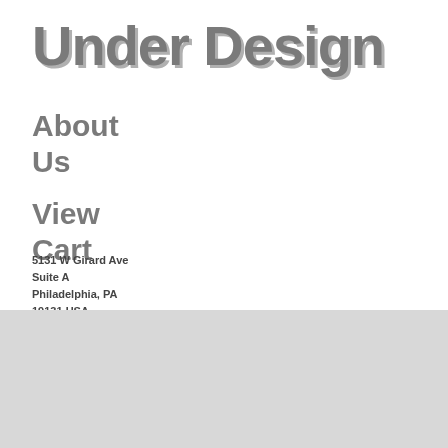Under Design
About
Us
View
Cart
5131 W Girard Ave
Suite A
Philadelphia, PA
19131 USA
Reinventing the
Oxcart. Adding RSS